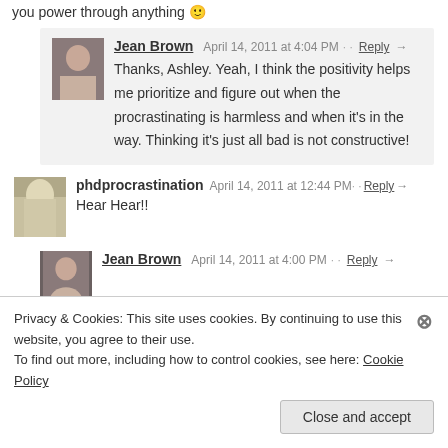you power through anything 😊
Jean Brown  April 14, 2011 at 4:04 PM  Reply →
Thanks, Ashley. Yeah, I think the positivity helps me prioritize and figure out when the procrastinating is harmless and when it's in the way. Thinking it's just all bad is not constructive!
phdprocrastination  April 14, 2011 at 12:44 PM  Reply →
Hear Hear!!
Jean Brown  April 14, 2011 at 4:00 PM  Reply →
Privacy & Cookies: This site uses cookies. By continuing to use this website, you agree to their use.
To find out more, including how to control cookies, see here: Cookie Policy
Close and accept